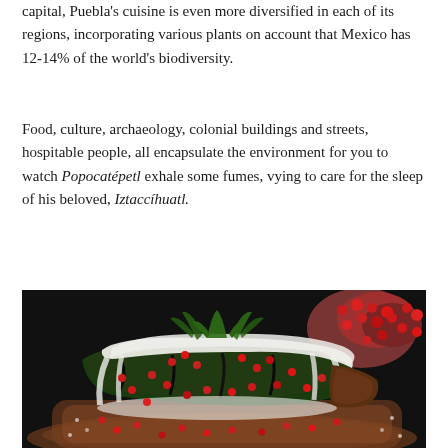capital, Puebla's cuisine is even more diversified in each of its regions, incorporating various plants on account that Mexico has 12-14% of the world's biodiversity.
Food, culture, archaeology, colonial buildings and streets, hospitable people, all encapsulate the environment for you to watch Popocatépetl exhale some fumes, vying to care for the sleep of his beloved, Iztaccíhuatl.
[Figure (photo): A close-up food photograph on a dark/black background showing a traditional Mexican chile en nogada dish: a dark green poblano pepper covered in white walnut cream sauce (nogada), garnished with bright red pomegranate seeds and fresh green parsley leaves, served on a decorative clay plate. In the background, cut pomegranate halves are visible.]